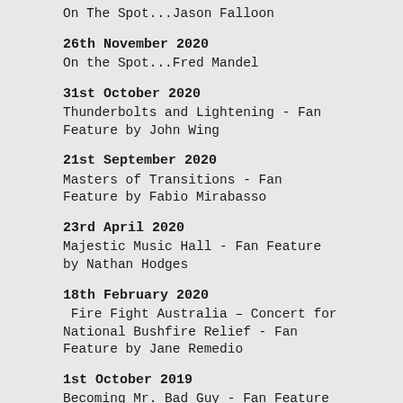On The Spot...Jason Falloon
26th November 2020
On the Spot...Fred Mandel
31st October 2020
Thunderbolts and Lightening - Fan Feature by John Wing
21st September 2020
Masters of Transitions - Fan Feature by Fabio Mirabasso
23rd April 2020
Majestic Music Hall - Fan Feature by Nathan Hodges
18th February 2020
Fire Fight Australia – Concert for National Bushfire Relief - Fan Feature by Jane Remedio
1st October 2019
Becoming Mr. Bad Guy - Fan Feature by Patrick Lemieux
10th September 2019